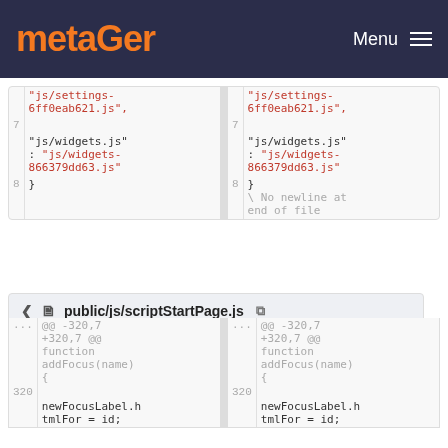metaGer  Menu
[Figure (screenshot): Code diff view showing two columns. Left column line 7: "js/settings-6ff0eab621.js", and "js/widgets.js": "js/widgets-866379dd63.js" line 8: }. Right column same content plus \ No newline at end of file]
public/js/scriptStartPage.js
[Figure (screenshot): Code diff showing @@ -320,7 +320,7 @@ function addFocus(name) { on both sides, line 320 with newFocusLabel.htmlFor = id; on both sides]